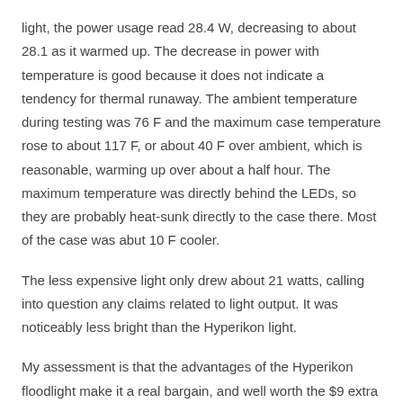light, the power usage read 28.4 W, decreasing to about 28.1 as it warmed up. The decrease in power with temperature is good because it does not indicate a tendency for thermal runaway. The ambient temperature during testing was 76 F and the maximum case temperature rose to about 117 F, or about 40 F over ambient, which is reasonable, warming up over about a half hour. The maximum temperature was directly behind the LEDs, so they are probably heat-sunk directly to the case there. Most of the case was abut 10 F cooler.
The less expensive light only drew about 21 watts, calling into question any claims related to light output. It was noticeably less bright than the Hyperikon light.
My assessment is that the advantages of the Hyperikon floodlight make it a real bargain, and well worth the $9 extra compared to the least expensive comparable light that I found on Amazon.